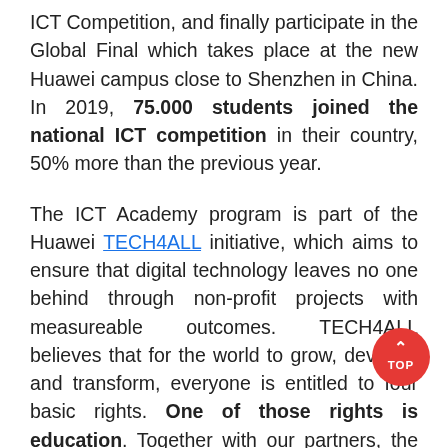ICT Competition, and finally participate in the Global Final which takes place at the new Huawei campus close to Shenzhen in China. In 2019, 75.000 students joined the national ICT competition in their country, 50% more than the previous year.
The ICT Academy program is part of the Huawei TECH4ALL initiative, which aims to ensure that digital technology leaves no one behind through non-profit projects with measureable outcomes. TECH4ALL believes that for the world to grow, develop, and transform, everyone is entitled to four basic rights. One of those rights is education. Together with our partners, the TECH4ALL program will help educate more students about ICT and close the digital skills gap.
The world is made up of 7.5 billion people, but only half the world has access to digital technology. The